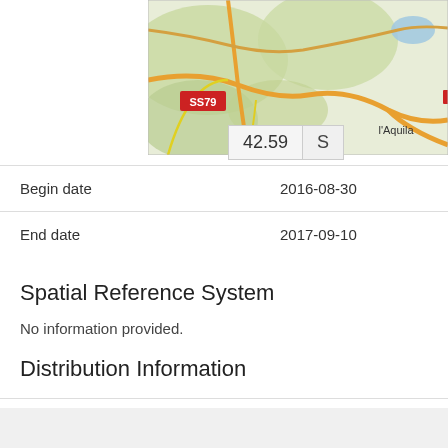[Figure (map): Street/topographic map showing area around L'Aquila, Italy with road SS79 labeled and surrounding terrain in green/beige tones.]
|  |  |
| --- | --- |
| Begin date | 2016-08-30 |
| End date | 2017-09-10 |
Spatial Reference System
No information provided.
Distribution Information
| Data format |  |
| --- | --- |
| Data format | jpeg |